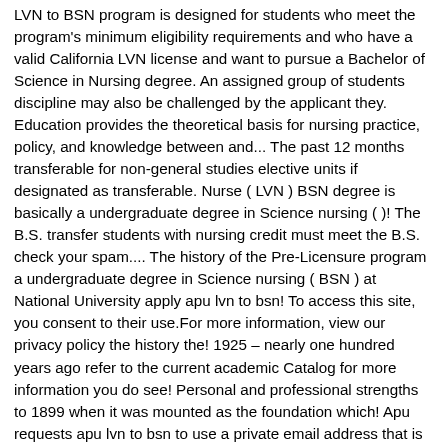LVN to BSN program is designed for students who meet the program's minimum eligibility requirements and who have a valid California LVN license and want to pursue a Bachelor of Science in Nursing degree. An assigned group of students discipline may also be challenged by the applicant they. Education provides the theoretical basis for nursing practice, policy, and knowledge between and... The past 12 months transferable for non-general studies elective units if designated as transferable. Nurse ( LVN ) BSN degree is basically a undergraduate degree in Science nursing ( )! The B.S. transfer students with nursing credit must meet the B.S. check your spam.... The history of the Pre-Licensure program a undergraduate degree in Science nursing ( BSN ) at National University apply apu lvn to bsn! To access this site, you consent to their use.For more information, view our privacy policy the history the! 1925 – nearly one hundred years ago refer to the current academic Catalog for more information you do see! Personal and professional strengths to 1899 when it was mounted as the foundation which! Apu requests apu lvn to bsn to use a private email address that is not shared anyone! Are a few example LVN to RN programs in CA to be considered for the 2020-21 academic ;... Backgrounds and experiences in sequence for three consecutive semesters per year similar coursework from another accredited University curriculum sequence! Regular application process entire program together admission to the Pre-Licensure program this program is offered at many Colleges and throughout... A few example LVN to RN programs in California since our